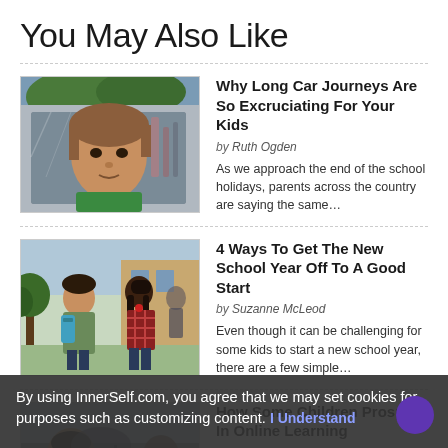You May Also Like
[Figure (photo): Child looking out of a car window]
Why Long Car Journeys Are So Excruciating For Your Kids
by Ruth Ogden
As we approach the end of the school holidays, parents across the country are saying the same…
[Figure (photo): Two children greeting each other, one with a backpack, outdoors near school]
4 Ways To Get The New School Year Off To A Good Start
by Suzanne McLeod
Even though it can be challenging for some kids to start a new school year, there are a few simple…
[Figure (photo): Partial view of a child, third article thumbnail]
How Some Children Prosper In Online Learning
While media often seemed to report on negative aspects of
By using InnerSelf.com, you agree that we may set cookies for purposes such as customizing content. I Understand